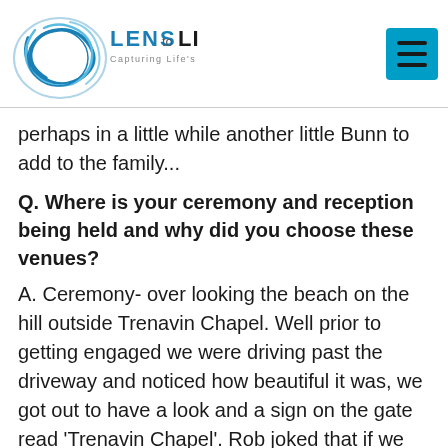[Figure (logo): Lens to Life logo — circular swirl design in blue with text 'LENS to LIFE Capturing Life's Moments']
perhaps in a little while another little Bunn to add to the family...
Q. Where is your ceremony and reception being held and why did you choose these venues?
A. Ceremony- over looking the beach on the hill outside Trenavin Chapel. Well prior to getting engaged we were driving past the driveway and noticed how beautiful it was, we got out to have a look and a sign on the gate read 'Trenavin Chapel'. Rob joked that if we ever got married we could have the ceremony there. So when we got engaged and started planning that was the first